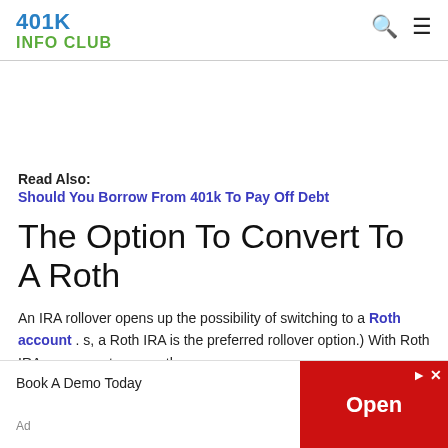401K INFO CLUB
Read Also:
Should You Borrow From 401k To Pay Off Debt
The Option To Convert To A Roth
An IRA rollover opens up the possibility of switching to a Roth account . s, a Roth IRA is the preferred rollover option.) With Roth IRAs, you pay taxes on the money you
Book A Demo Today
Open
Ad